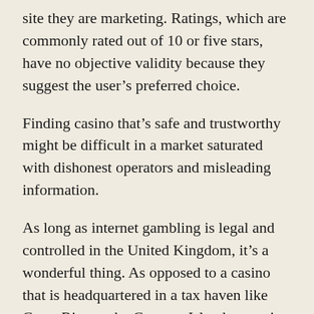site they are marketing. Ratings, which are commonly rated out of 10 or five stars, have no objective validity because they suggest the user's preferred choice.
Finding casino that's safe and trustworthy might be difficult in a market saturated with dishonest operators and misleading information.
As long as internet gambling is legal and controlled in the United Kingdom, it's a wonderful thing. As opposed to a casino that is headquartered in a tax haven like Costa Rica or the Cayman Islands, a casino licensed and □□ □□□ □□□□□ operated in the United Kingdom is better. To guarantee that all player transactions are legal and that all players are paid immediately when they win, these UK online casinos pass a rigorous financial review. Anti-fraud safeguards have been put in place, and the randomness of the algorithm is verified often. Only after